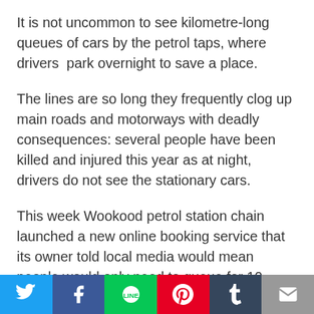It is not uncommon to see kilometre-long queues of cars by the petrol taps, where drivers  park overnight to save a place.
The lines are so long they frequently clog up main roads and motorways with deadly consequences: several people have been killed and injured this year as at night, drivers do not see the stationary cars.
This week Wookood petrol station chain launched a new online booking service that its owner told local media would mean people would only need to queue for 10 minutes.
They now run two petrol queues, those who
[Figure (other): Social media share bar with Twitter, Facebook, Line, Pinterest, Tumblr, and email buttons]